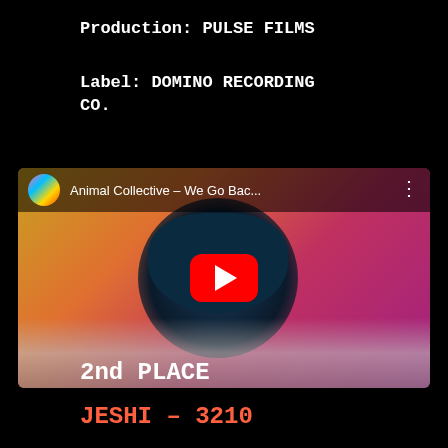Production: PULSE FILMS
Label: DOMINO RECORDING CO.
[Figure (screenshot): YouTube video thumbnail for 'Animal Collective – We Go Bac...' showing a colorful psychedelic image with a figure wearing glasses and a cassette/radio, with newspapers below. YouTube play button overlay and top bar with channel avatar.]
2nd PLACE
JESHI – 3210